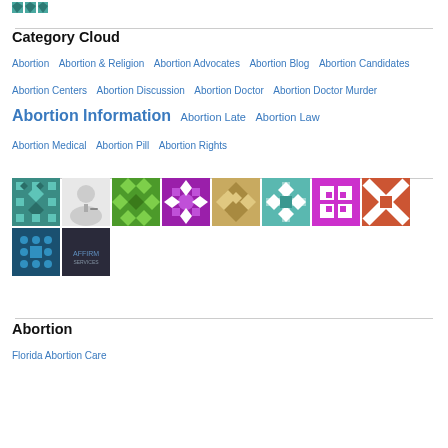[Figure (logo): Small teal/green triangular logo in top left corner]
Category Cloud
Abortion  Abortion & Religion  Abortion Advocates  Abortion Blog  Abortion Candidates  Abortion Centers  Abortion Discussion  Abortion Doctor  Abortion Doctor Murder  Abortion Heroes  Abortion Information  Abortion Late  Abortion Law  Abortion Medical  Abortion Pill  Abortion Rights
[Figure (illustration): Grid of 10 thumbnail images: geometric patterned tiles in teal, green, purple, gold/olive, magenta, terracotta, dark teal dot pattern; one photo of a doctor/woman writing; one dark logo placeholder]
Abortion
Florida Abortion Care